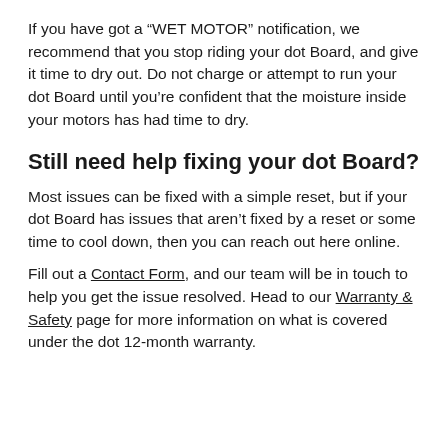If you have got a “WET MOTOR” notification, we recommend that you stop riding your dot Board, and give it time to dry out. Do not charge or attempt to run your dot Board until you’re confident that the moisture inside your motors has had time to dry.
Still need help fixing your dot Board?
Most issues can be fixed with a simple reset, but if your dot Board has issues that aren’t fixed by a reset or some time to cool down, then you can reach out here online.
Fill out a Contact Form, and our team will be in touch to help you get the issue resolved. Head to our Warranty & Safety page for more information on what is covered under the dot 12-month warranty.